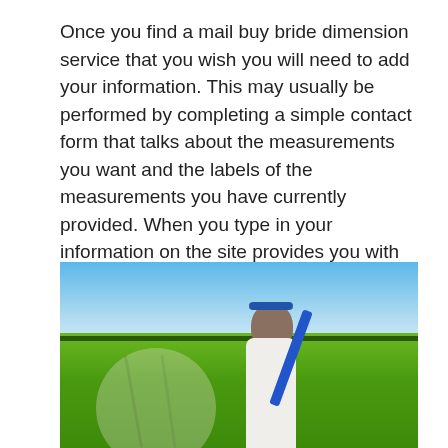Once you find a mail buy bride dimension service that you wish you will need to add your information. This may usually be performed by completing a simple contact form that talks about the measurements you want and the labels of the measurements you have currently provided. When you type in your information on the site provides you with results on the closest and most accurate match. You can then determine whether or not you wish to proceed when using the process.
[Figure (photo): A woman in a white top with a blue headband and blue ribbon/strap, standing in a green field with a blue sky in the background.]